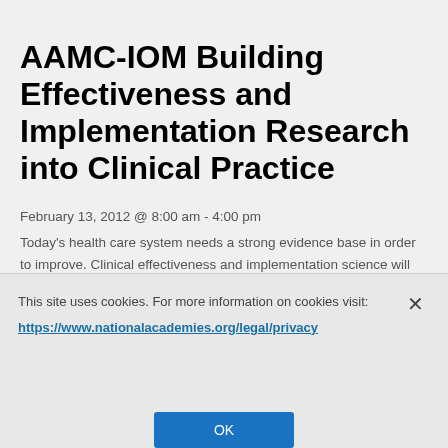AAMC-IOM Building Effectiveness and Implementation Research into Clinical Practice
February 13, 2012 @ 8:00 am - 4:00 pm
Today's health care system needs a strong evidence base in order to improve. Clinical effectiveness and implementation science will be invaluable for institutions to build that evidence. This meeting will bring together health systems leaders committed to building their institution's capacities in clinical effectiveness research and...
This site uses cookies. For more information on cookies visit: https://www.nationalacademies.org/legal/privacy